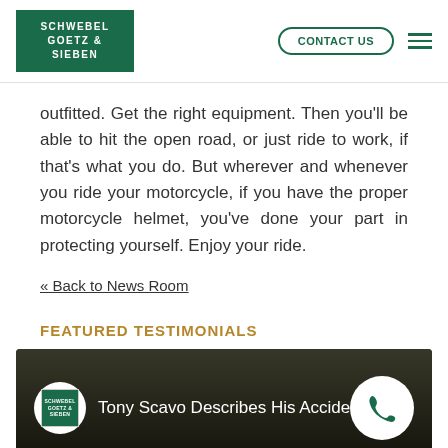SCHWEBEL GOETZ & SIEBEN | CONTACT US
outfitted. Get the right equipment. Then you'll be able to hit the open road, or just ride to work, if that's what you do. But wherever and whenever you ride your motorcycle, if you have the proper motorcycle helmet, you've done your part in protecting yourself. Enjoy your ride.
« Back to News Room
FEATURED TESTIMONIALS
[Figure (screenshot): Video thumbnail showing Tony Scavo Describes His Accident with Schwebel Goetz & Sieben logo and phone icon]